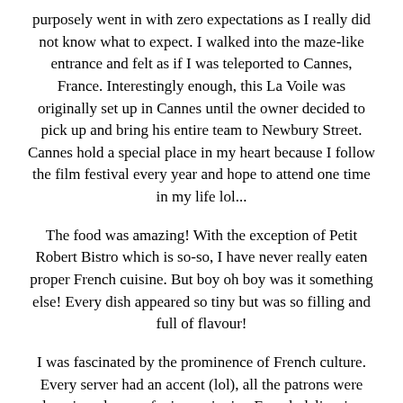purposely went in with zero expectations as I really did not know what to expect. I walked into the maze-like entrance and felt as if I was teleported to Cannes, France. Interestingly enough, this La Voile was originally set up in Cannes until the owner decided to pick up and bring his entire team to Newbury Street. Cannes hold a special place in my heart because I follow the film festival every year and hope to attend one time in my life lol...
The food was amazing! With the exception of Petit Robert Bistro which is so-so, I have never really eaten proper French cuisine. But boy oh boy was it something else! Every dish appeared so tiny but was so filling and full of flavour!
I was fascinated by the prominence of French culture. Every server had an accent (lol), all the patrons were downing glasses of wine, enjoying French delicacies,